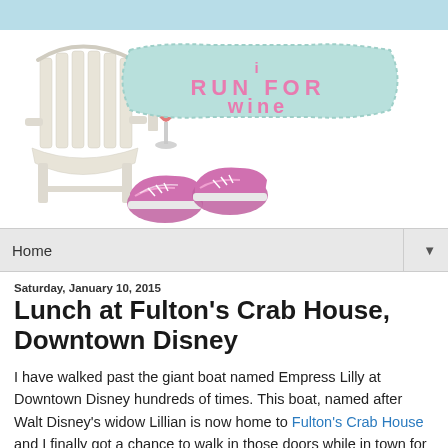[Figure (logo): Blog header logo for 'I Run For Wine' featuring a white Adirondack chair with a wine glass on the armrest, a mint green decorative sign banner reading 'i RUN FOR wine' in pink text, and pink running shoes.]
Home
Saturday, January 10, 2015
Lunch at Fulton's Crab House, Downtown Disney
I have walked past the giant boat named Empress Lilly at Downtown Disney hundreds of times. This boat, named after Walt Disney's widow Lillian is now home to Fulton's Crab House and I finally got a chance to walk in those doors while in town for Walt Disney World Marathon Weekend. My best friend and I were looking for something different to do for